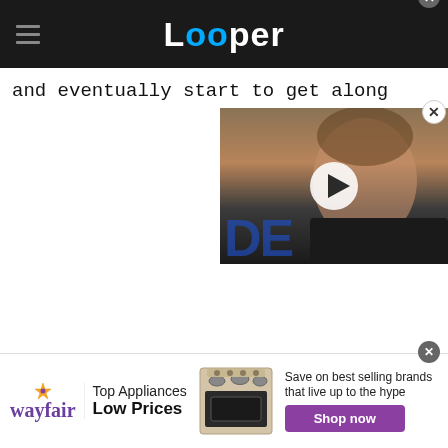Looper
and eventually start to get along
[Figure (photo): Video thumbnail showing a man's face (Willem Dafoe) with a play button overlay, blue/red letters in the background suggesting a Spider-Man event backdrop]
[Figure (photo): Wayfair advertisement banner showing a stove/range appliance with text 'Top Appliances Low Prices' and 'Save on best selling brands that live up to the hype', with a purple Shop now button]